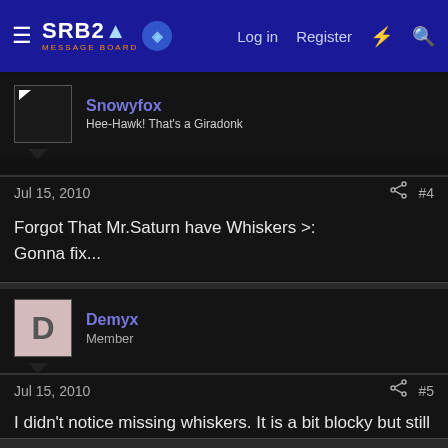SRB2 Message Board — Log in | Register
Snowyfox
Hee-Hawk! That's a Giradonk
Jul 15, 2010  #4
Forgot That Mr.Saturn have Whiskers >:
Gonna fix...
Demyx
Member
Jul 15, 2010  #5
I didn't notice missing whiskers. It is a bit blocky but still good start.
Snowyfox